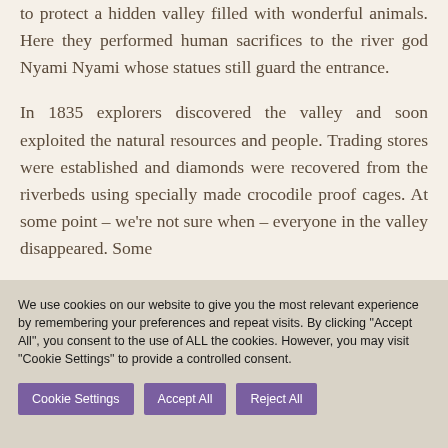to protect a hidden valley filled with wonderful animals. Here they performed human sacrifices to the river god Nyami Nyami whose statues still guard the entrance.
In 1835 explorers discovered the valley and soon exploited the natural resources and people. Trading stores were established and diamonds were recovered from the riverbeds using specially made crocodile proof cages. At some point – we're not sure when – everyone in the valley disappeared. Some
We use cookies on our website to give you the most relevant experience by remembering your preferences and repeat visits. By clicking "Accept All", you consent to the use of ALL the cookies. However, you may visit "Cookie Settings" to provide a controlled consent.